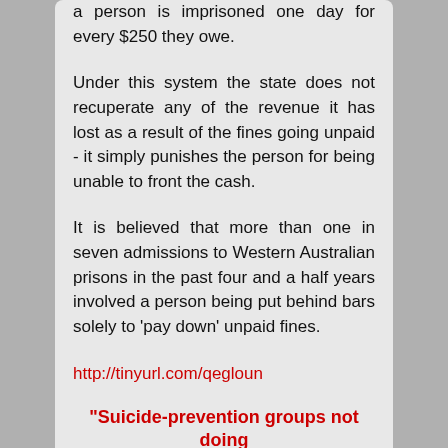a person is imprisoned one day for every $250 they owe.

Under this system the state does not recuperate any of the revenue it has lost as a result of the fines going unpaid - it simply punishes the person for being unable to front the cash.

It is believed that more than one in seven admissions to Western Australian prisons in the past four and a half years involved a person being put behind bars solely to 'pay down' unpaid fines.

http://tinyurl.com/qegloun
"Suicide-prevention groups not doing